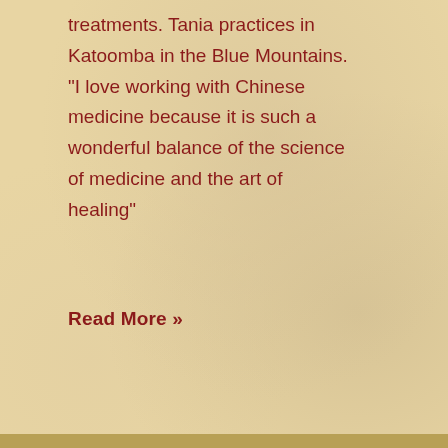treatments. Tania practices in Katoomba in the Blue Mountains. "I love working with Chinese medicine because it is such a wonderful balance of the science of medicine and the art of healing"
Read More »